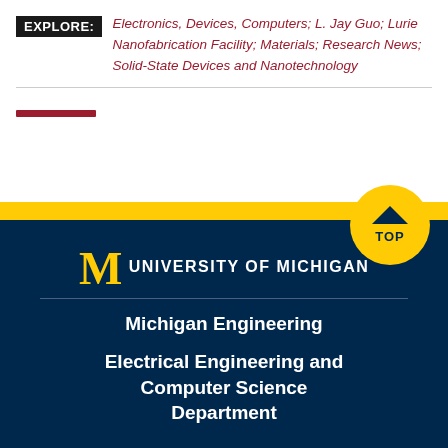EXPLORE: Electronics, Devices, Computers; L. Jay Guo; Lurie Nanofabrication Facility; Materials; Research News; Solid-State Devices and Nanotechnology
[Figure (logo): University of Michigan wordmark with M logo and UNIVERSITY OF MICHIGAN text]
Michigan Engineering
Electrical Engineering and Computer Science Department